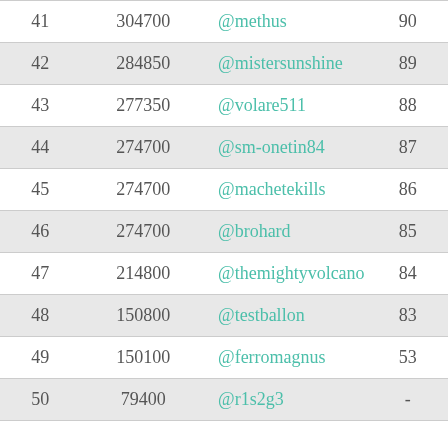| Rank | Score | Username | Level |
| --- | --- | --- | --- |
| 41 | 304700 | @methus | 90 |
| 42 | 284850 | @mistersunshine | 89 |
| 43 | 277350 | @volare511 | 88 |
| 44 | 274700 | @sm-onetin84 | 87 |
| 45 | 274700 | @machetekills | 86 |
| 46 | 274700 | @brohard | 85 |
| 47 | 214800 | @themightyvolcano | 84 |
| 48 | 150800 | @testballon | 83 |
| 49 | 150100 | @ferromagnus | 53 |
| 50 | 79400 | @r1s2g3 | - |